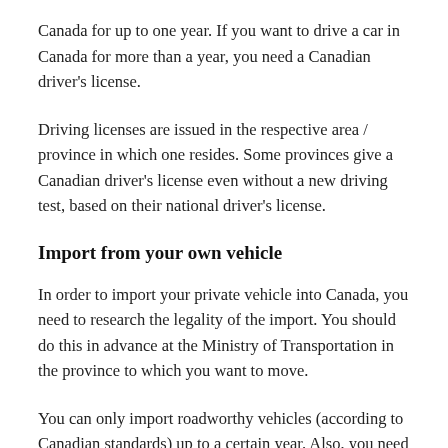Canada for up to one year. If you want to drive a car in Canada for more than a year, you need a Canadian driver's license.
Driving licenses are issued in the respective area / province in which one resides. Some provinces give a Canadian driver's license even without a new driving test, based on their national driver's license.
Import from your own vehicle
In order to import your private vehicle into Canada, you need to research the legality of the import. You should do this in advance at the Ministry of Transportation in the province to which you want to move.
You can only import roadworthy vehicles (according to Canadian standards) up to a certain year. Also, you need to